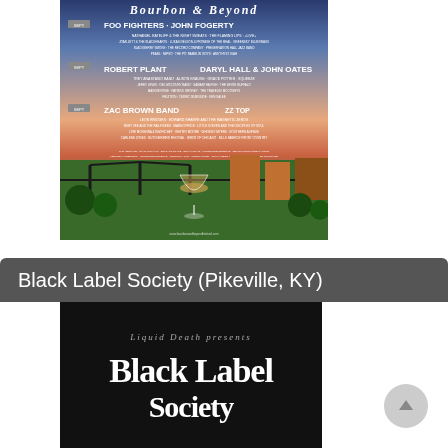[Figure (illustration): Festival poster featuring bands including Foo Fighters, John Fogerty, Robert Plant, Daryl Hall & John Oates, Zac Brown Band, ZZ Top, and many others. Bottom portion shows illustrated scene with bridge, whisky glass, and buildings against colorful sky.]
Black Label Society (Pikeville, KY)
[Figure (illustration): Black Label Society concert poster on black background. Top reads 'Liquid Death presents' in italic script. Below in large gothic/blackletter font reads 'Black Label' with more text below (partially cut off).]